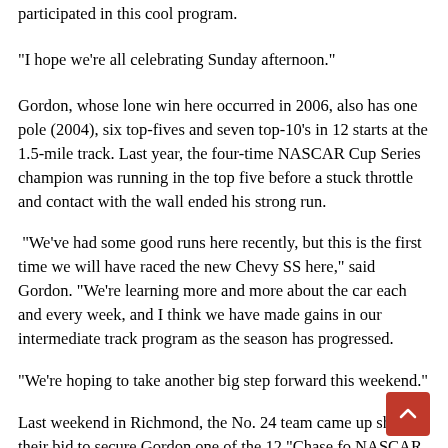participated in this cool program.
"I hope we're all celebrating Sunday afternoon."
Gordon, whose lone win here occurred in 2006, also has one pole (2004), six top-fives and seven top-10's in 12 starts at the 1.5-mile track. Last year, the four-time NASCAR Cup Series champion was running in the top five before a stuck throttle and contact with the wall ended his strong run.
"We've had some good runs here recently, but this is the first time we will have raced the new Chevy SS here," said Gordon. "We're learning more and more about the car each and every week, and I think we have made gains in our intermediate track program as the season has progressed.
"We're hoping to take another big step forward this weekend."
Last weekend in Richmond, the No. 24 team came up short in their bid to secure Gordon one of the 12 "Chase fo NASCAR Sprint Cup" berths. How will this affect how the team